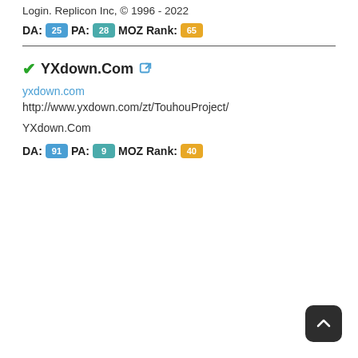Login. Replicon Inc, © 1996 - 2022
DA: 25 PA: 28 MOZ Rank: 65
✓YXdown.Com 🔗
yxdown.com
http://www.yxdown.com/zt/TouhouProject/
YXdown.Com
DA: 91 PA: 9 MOZ Rank: 40